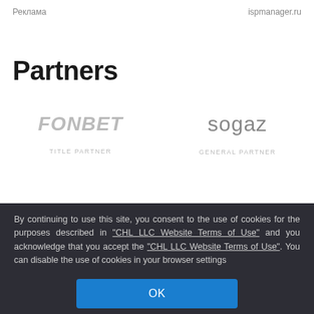Реклама   ispmanager.ru
Partners
[Figure (logo): FONBET logo in italic gray text with label TITLE PARTNER below]
[Figure (logo): sogaz logo in gray text with label GENERAL PARTNER below]
By continuing to use this site, you consent to the use of cookies for the purposes described in "CHL LLC Website Terms of Use" and you acknowledge that you accept the "CHL LLC Website Terms of Use". You can disable the use of cookies in your browser settings
OK